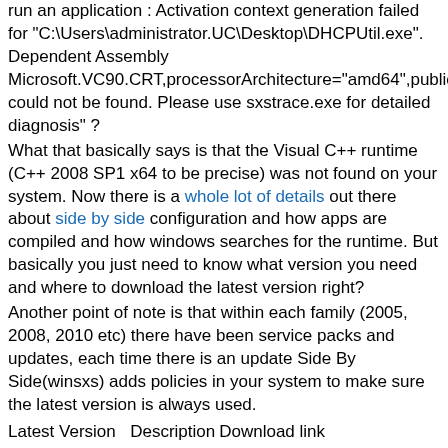run an application : Activation context generation failed for "C:\Users\administrator.UC\Desktop\DHCPUtil.exe". Dependent Assembly Microsoft.VC90.CRT,processorArchitecture="amd64",publicKeyToken="1fc8b3b9a1e18e3b",type="win32",version="9.0.30729.4148" could not be found. Please use sxstrace.exe for detailed diagnosis" ?
What that basically says is that the Visual C++ runtime (C++ 2008 SP1 x64 to be precise) was not found on your system. Now there is a whole lot of details out there about side by side configuration and how apps are compiled and how windows searches for the runtime. But basically you just need to know what version you need and where to download the latest version right?
Another point of note is that within each family (2005, 2008, 2010 etc) there have been service packs and updates, each time there is an update Side By Side(winsxs) adds policies in your system to make sure the latest version is always used.
| Latest Version | Description | Download link |
| --- | --- | --- |
| 8.0.50727.4053 | Microsoft Visual C++ 2005 Service | http://www.microsoft.com/down FamilyID=766a6af7-ec73-40ff- |